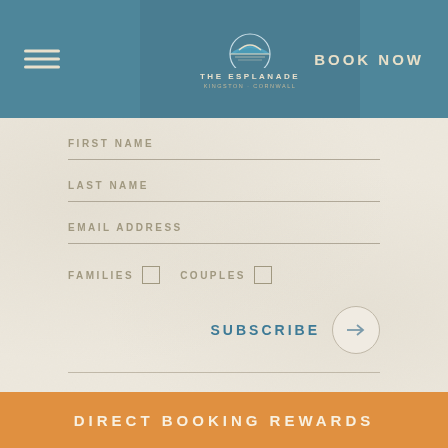[Figure (logo): The Esplanade Resort logo with circular emblem showing a horizon/sunset over water, with text 'THE ESPLANADE' and subtitle text below]
BOOK NOW
FIRST NAME
LAST NAME
EMAIL ADDRESS
FAMILIES  COUPLES
SUBSCRIBE
SURF REPORT
DIRECT BOOKING REWARDS